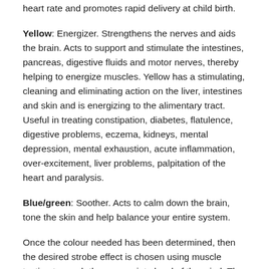heart rate and promotes rapid delivery at child birth.
Yellow: Energizer. Strengthens the nerves and aids the brain. Acts to support and stimulate the intestines, pancreas, digestive fluids and motor nerves, thereby helping to energize muscles. Yellow has a stimulating, cleaning and eliminating action on the liver, intestines and skin and is energizing to the alimentary tract. Useful in treating constipation, diabetes, flatulence, digestive problems, eczema, kidneys, mental depression, mental exhaustion, acute inflammation, over-excitement, liver problems, palpitation of the heart and paralysis.
Blue/green: Soother. Acts to calm down the brain, tone the skin and help balance your entire system.
Once the colour needed has been determined, then the desired strobe effect is chosen using muscle testing to reach the appropriate level of the mind. The four levels the body